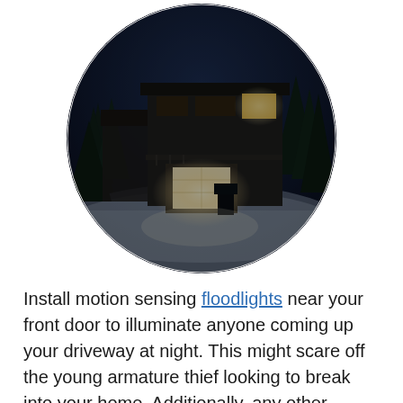[Figure (photo): Circular cropped nighttime photo of a modern two-story house with large windows glowing warmly, surrounded by tall evergreen trees, snow on the ground, and a bright garage door light illuminating the driveway.]
Install motion sensing floodlights near your front door to illuminate anyone coming up your driveway at night. This might scare off the young armature thief looking to break into your home. Additionally, any other outdoor lighting installed around your home could help as well.